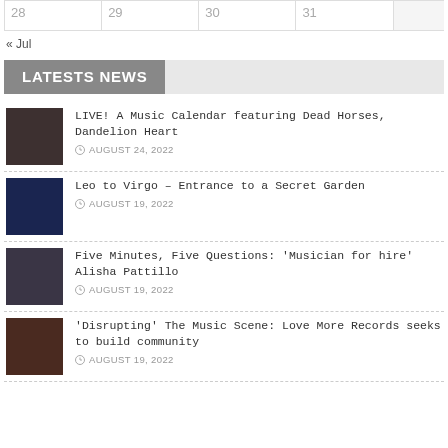| 28 | 29 | 30 | 31 |
| --- | --- | --- | --- |
« Jul
LATESTS NEWS
LIVE! A Music Calendar featuring Dead Horses, Dandelion Heart — AUGUST 24, 2022
Leo to Virgo – Entrance to a Secret Garden — AUGUST 19, 2022
Five Minutes, Five Questions: 'Musician for hire' Alisha Pattillo — AUGUST 19, 2022
'Disrupting' The Music Scene: Love More Records seeks to build community — AUGUST 19, 2022